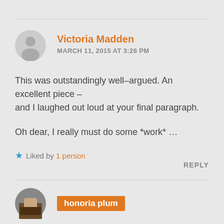Victoria Madden
MARCH 11, 2015 AT 3:26 PM
This was outstandingly well-argued. An excellent piece – and I laughed out loud at your final paragraph.
Oh dear, I really must do some *work* …
★ Liked by 1 person
REPLY
honoria plum